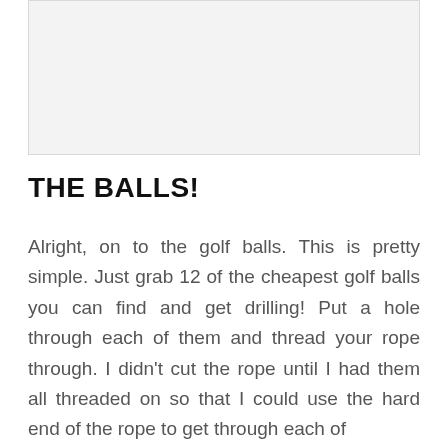[Figure (photo): A light gray rectangular image placeholder area at the top of the page.]
THE BALLS!
Alright, on to the golf balls. This is pretty simple. Just grab 12 of the cheapest golf balls you can find and get drilling! Put a hole through each of them and thread your rope through. I didn't cut the rope until I had them all threaded on so that I could use the hard end of the rope to get through each of